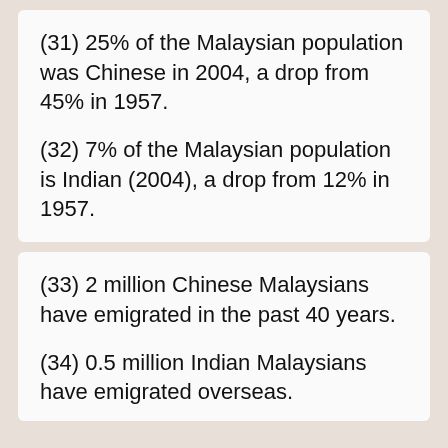(31) 25% of the Malaysian population was Chinese in 2004, a drop from 45% in 1957.
(32) 7% of the Malaysian population is Indian (2004), a drop from 12% in 1957.
(33) 2 million Chinese Malaysians have emigrated in the past 40 years.
(34) 0.5 million Indian Malaysians have emigrated overseas.